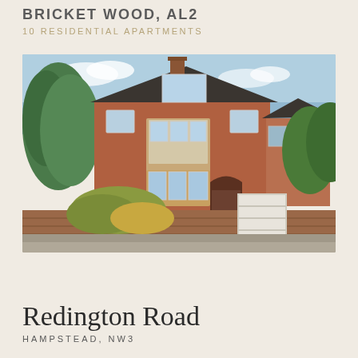BRICKET WOOD, AL2
10 RESIDENTIAL APARTMENTS
[Figure (photo): Exterior photograph of a large red-brick Victorian/Edwardian detached house with white bay windows, a dark slate roof, chimney, and mature trees/garden foliage in the foreground. A white wooden gate is visible on the right side.]
Redington Road
HAMPSTEAD, NW3